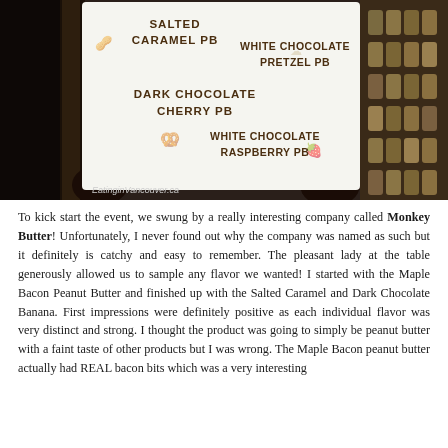[Figure (photo): A person holding up a white menu card listing peanut butter flavors in a dark store setting. The card reads: SALTED CARAMEL PB, WHITE CHOCOLATE PRETZEL PB, DARK CHOCOLATE CHERRY PB, WHITE CHOCOLATE RASPBERRY PB. Bottom left watermark reads EatinginVancouver.ca]
To kick start the event, we swung by a really interesting company called Monkey Butter! Unfortunately, I never found out why the company was named as such but it definitely is catchy and easy to remember. The pleasant lady at the table generously allowed us to sample any flavor we wanted! I started with the Maple Bacon Peanut Butter and finished up with the Salted Caramel and Dark Chocolate Banana. First impressions were definitely positive as each individual flavor was very distinct and strong. I thought the product was going to simply be peanut butter with a faint taste of other products but I was wrong. The Maple Bacon peanut butter actually had REAL bacon bits which was a very interesting...